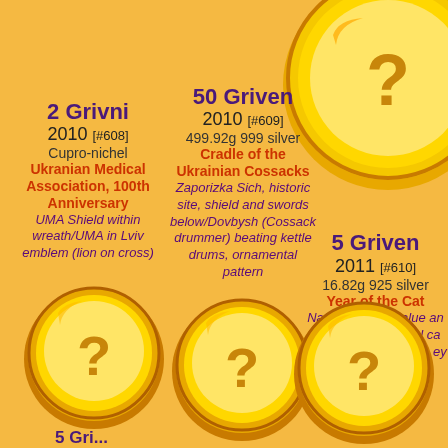[Figure (illustration): Gold coin with question mark, top right, large, partially cropped]
2 Grivni
2010 [#608]
Cupro-nichel
Ukranian Medical Association, 100th Anniversary
UMA Shield within wreath/UMA in Lviv emblem (lion on cross)
50 Griven
2010 [#609]
499.92g 999 silver
Cradle of the Ukrainian Cossacks
Zaporizka Sich, historic site, shield and swords below/Dovbysh (Cossack drummer) beating kettle drums, ornamental pattern
5 Griven
2011 [#610]
16.82g 925 silver
Year of the Cat
National arms, value and floral design/Playful cat with green alpinites in eyes
[Figure (illustration): Gold coin with question mark, bottom left]
[Figure (illustration): Gold coin with question mark, bottom center]
[Figure (illustration): Gold coin with question mark, bottom right, partially cropped]
5 Gri...